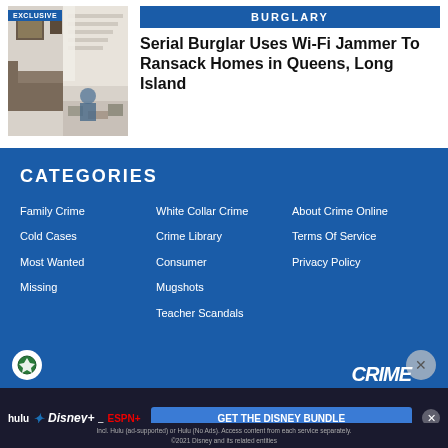[Figure (photo): Interior of a ransacked home showing a messy living room with scattered items, a couch, stairs, and curtains. An 'EXCLUSIVE' badge is shown in the top-left corner.]
BURGLARY
Serial Burglar Uses Wi-Fi Jammer To Ransack Homes in Queens, Long Island
CATEGORIES
Family Crime
White Collar Crime
About Crime Online
Cold Cases
Crime Library
Terms Of Service
Most Wanted
Consumer
Privacy Policy
Missing
Mugshots
Teacher Scandals
[Figure (screenshot): Disney Bundle advertisement bar at the bottom with Hulu, Disney+, and ESPN+ logos and a 'GET THE DISNEY BUNDLE' call to action button.]